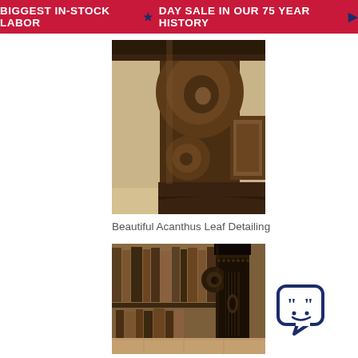BIGGEST IN-STOCK LABOR ★ DAY SALE IN OUR 75 YEAR HISTORY▶
[Figure (photo): Close-up photo of ornate dark walnut furniture leg and base showing carved acanthus leaf scroll detailing]
Beautiful Acanthus Leaf Detailing
[Figure (photo): Close-up photo of dark walnut furniture column and pilaster with decorative carved scroll and fluted details, library bookshelf in background]
[Figure (illustration): Chat bubble icon with quotation marks and smiley face in dark navy blue]